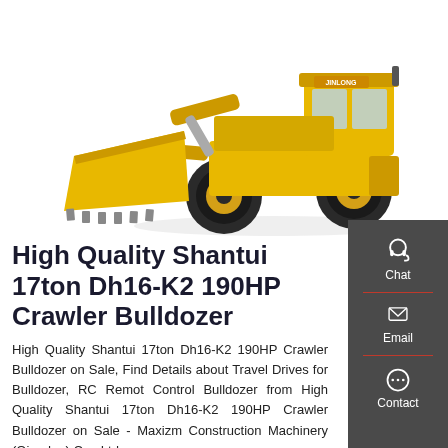[Figure (photo): Yellow front loader / wheel loader construction machine (Jinlong brand) with large bucket, facing left, on white background]
High Quality Shantui 17ton Dh16-K2 190HP Crawler Bulldozer
High Quality Shantui 17ton Dh16-K2 190HP Crawler Bulldozer on Sale, Find Details about Travel Drives for Bulldozer, RC Remot Control Bulldozer from High Quality Shantui 17ton Dh16-K2 190HP Crawler Bulldozer on Sale - Maxizm Construction Machinery (Qingdao) Co., Ltd.